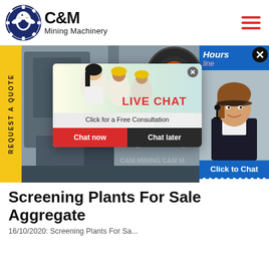[Figure (logo): C&M Mining Machinery logo — circular emblem with eagle/gear in navy blue, company name in bold black text]
[Figure (photo): Industrial/factory hero banner showing machinery and workers in yellow hard hats with a Live Chat popup overlay and a chat agent widget on the right side]
Screening Plants For Sale Aggregate
16/10/2020: Screening Plants For Sa...